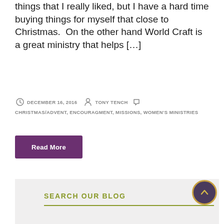things that I really liked, but I have a hard time buying things for myself that close to Christmas.  On the other hand World Craft is a great ministry that helps […]
DECEMBER 16, 2016  TONY TENCH  CHRISTMAS/ADVENT, ENCOURAGMENT, MISSIONS, WOMEN'S MINISTRIES
Read More
SEARCH OUR BLOG